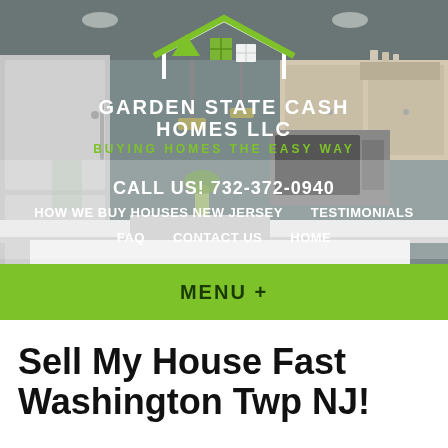[Figure (screenshot): Garden State Cash Homes LLC website header with kitchen background image, company logo with green house icon, navigation links including CALL US! 732-372-0940, HOW WE BUY HOUSES NEW JERSEY, TESTIMONIALS, FAQ, CONTACT US, HOME, and a green MENU + bar]
Sell My House Fast Washington Twp NJ!